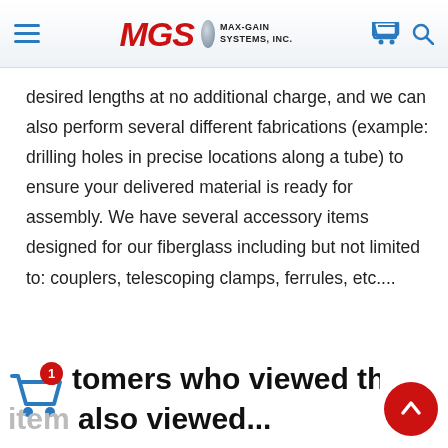MGS MAX-GAIN SYSTEMS, INC.
desired lengths at no additional charge, and we can also perform several different fabrications (example: drilling holes in precise locations along a tube) to ensure your delivered material is ready for assembly. We have several accessory items designed for our fiberglass including but not limited to: couplers, telescoping clamps, ferrules, etc....
Customers who viewed this item also viewed...